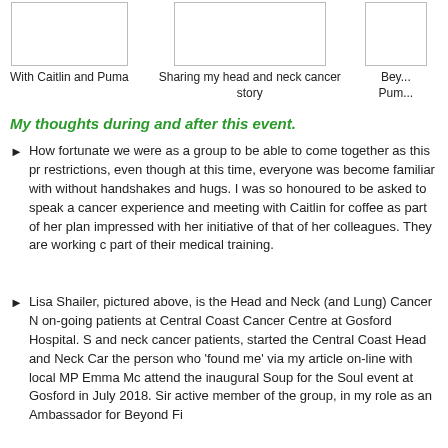[Figure (photo): Photo placeholder: With Caitlin and Puma]
With Caitlin and Puma
[Figure (photo): Photo placeholder: Sharing my head and neck cancer story]
Sharing my head and neck cancer story
[Figure (photo): Photo placeholder: Beyond Fi... Pum...]
Bey... Pum...
My thoughts during and after this event.
How fortunate we were as a group to be able to come together as this pr... restrictions, even though at this time, everyone was become familiar with... without handshakes and hugs. I was so honoured to be asked to speak a... cancer experience and meeting with Caitlin for coffee as part of her plan... impressed with her initiative of that of her colleagues. They are working c... part of their medical training.
Lisa Shailer, pictured above, is the Head and Neck (and Lung) Cancer N... on-going patients at Central Coast Cancer Centre at Gosford Hospital. S... and neck cancer patients, started the Central Coast Head and Neck Car... the person who 'found me' via my article on-line with local MP Emma Mc... attend the inaugural Soup for the Soul event at Gosford in July 2018. Sir... active member of the group, in my role as an Ambassador for Beyond Fi...